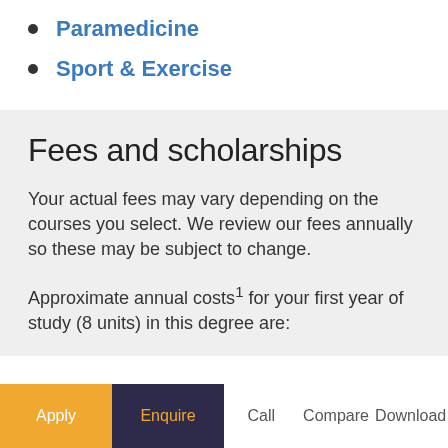Paramedicine
Sport & Exercise
Fees and scholarships
Your actual fees may vary depending on the courses you select. We review our fees annually so these may be subject to change.
Approximate annual costs¹ for your first year of study (8 units) in this degree are:
Apply  Enquire  Call  Compare  Download